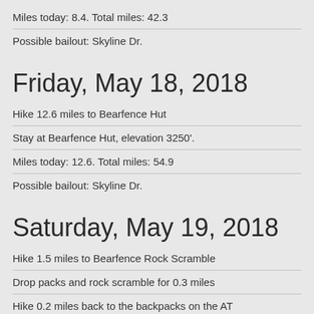Miles today: 8.4. Total miles: 42.3
Possible bailout: Skyline Dr.
Friday, May 18, 2018
Hike 12.6 miles to Bearfence Hut
Stay at Bearfence Hut, elevation 3250'.
Miles today: 12.6. Total miles: 54.9
Possible bailout: Skyline Dr.
Saturday, May 19, 2018
Hike 1.5 miles to Bearfence Rock Scramble
Drop packs and rock scramble for 0.3 miles
Hike 0.2 miles back to the backpacks on the AT
Hike 7.5 miles to Big Meadows